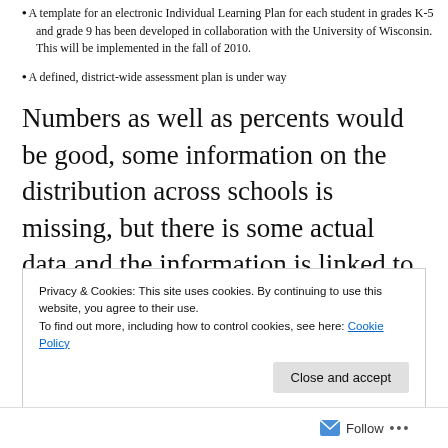A template for an electronic Individual Learning Plan for each student in grades K-5 and grade 9 has been developed in collaboration with the University of Wisconsin. This will be implemented in the fall of 2010.
A defined, district-wide assessment plan is under way
Numbers as well as percents would be good, some information on the distribution across schools is missing, but there is some actual data and the information is linked to the strategies that are intended to address this issue.
Privacy & Cookies: This site uses cookies. By continuing to use this website, you agree to their use. To find out more, including how to control cookies, see here: Cookie Policy
Close and accept
Follow